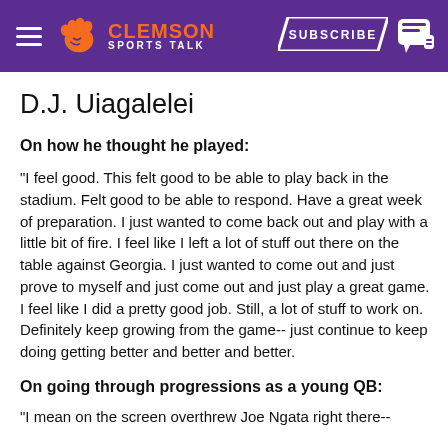Clemson Sports Talk — SUBSCRIBE
D.J. Uiagalelei
On how he thought he played:
"I feel good. This felt good to be able to play back in the stadium. Felt good to be able to respond. Have a great week of preparation. I just wanted to come back out and play with a little bit of fire. I feel like I left a lot of stuff out there on the table against Georgia. I just wanted to come out and just prove to myself and just come out and just play a great game. I feel like I did a pretty good job. Still, a lot of stuff to work on. Definitely keep growing from the game-- just continue to keep doing getting better and better and better.
On going through progressions as a young QB:
"I mean on the screen overthrew Joe Ngata right there--